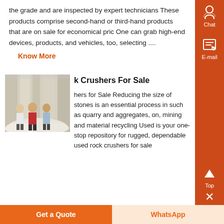the grade and are inspected by expert technicians These products comprise second-hand or third-hand products that are on sale for economical pric One can grab high-end devices, products, and vehicles, too, selecting ....
Know More
[Figure (photo): Three workers standing in an industrial/mining facility with white stone/mineral material in the background]
k Crushers For Sale
hers for Sale Reducing the size of stones is an essential process in such as quarry and aggregates, on, mining and material recycling Used is your one-stop repository for rugged, dependable used rock crushers for sale